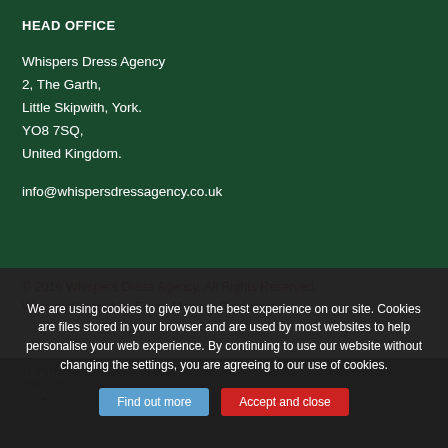HEAD OFFICE
Whispers Dress Agency
2, The Garth,
Little Skipwith, York.
YO8 7SQ,
United Kingdom.
info@whispersdressagency.co.uk
© 2016 Whispers Dress Agency. All Rights Reserved.
Website Created by Flying Monkey Productions
SEARCH
VISA
We are using cookies to give you the best experience on our site. Cookies are files stored in your browser and are used by most websites to help personalise your web experience. By continuing to use our website without changing the settings, you are agreeing to our use of cookies.